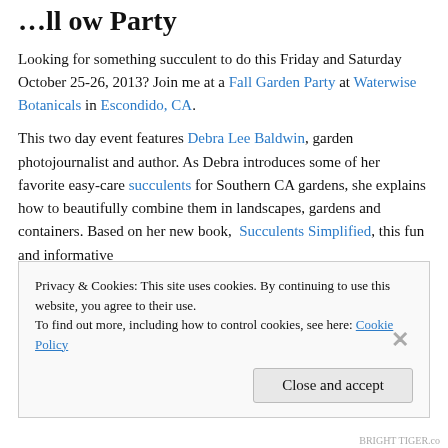…ll ow Party
Looking for something succulent to do this Friday and Saturday October 25-26, 2013? Join me at a Fall Garden Party at Waterwise Botanicals in Escondido, CA.
This two day event features Debra Lee Baldwin, garden photojournalist and author. As Debra introduces some of her favorite easy-care succulents for Southern CA gardens, she explains how to beautifully combine them in landscapes, gardens and containers. Based on her new book, Succulents Simplified, this fun and informative
Privacy & Cookies: This site uses cookies. By continuing to use this website, you agree to their use.
To find out more, including how to control cookies, see here: Cookie Policy
Close and accept